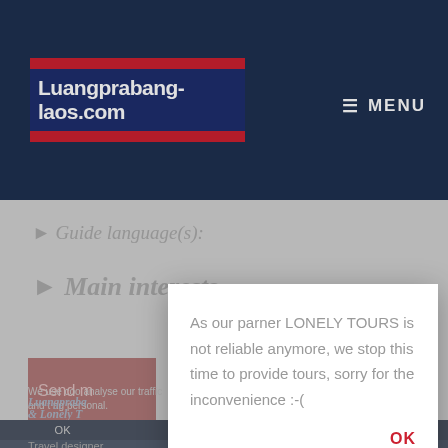[Figure (screenshot): Website header of luangprabang-laos.com with navy background, logo with red stripes and navy center, and MENU button on the right]
► Guide language(s):
► Main interests
As our parner LONELY TOURS is not reliable anymore, we stop this time to provide tours, sorry for the inconvenience :-(
OK
Send m
We use coo  analyse our traffic and t  ng personal.
Luangpraba  & Lonely T
OK   Not OK   Privacy Policy
Travel designer